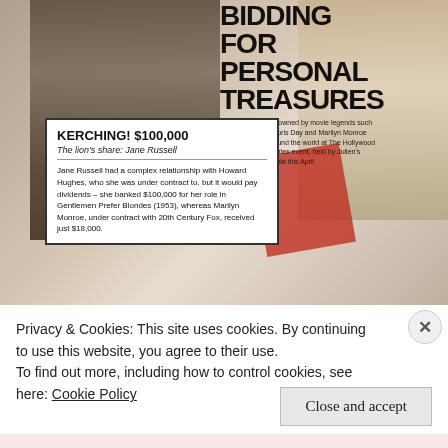[Figure (photo): Magazine page spread showing a photo of showgirls/dancers in black outfits on the left, a large headline 'BIDDING FOR PERSONAL TREASURES' in the upper right, a photo of Marilyn Monroe on the far right, descriptive text about Hollywood Legends & Luminaries auction by Julien's Auctions in California, a red fabric/prop, an inset white box with headline 'KERCHING! $100,000' and subheading 'The lion's share: Jane Russell' with body text about Jane Russell and Howard Hughes, and her $100,000 salary for Gentlemen Prefer Blondes (1953) versus Marilyn Monroe's $18,000.]
Privacy & Cookies: This site uses cookies. By continuing to use this website, you agree to their use.
To find out more, including how to control cookies, see here: Cookie Policy
Close and accept